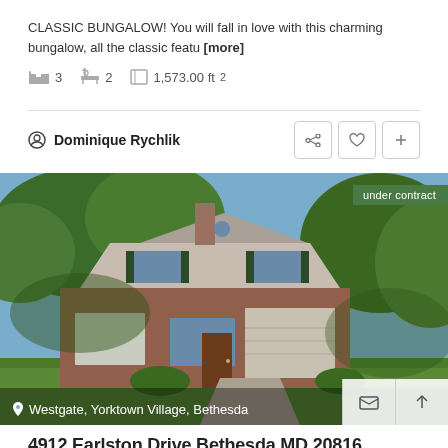CLASSIC BUNGALOW! You will fall in love with this charming bungalow, all the classic featu [more]
3  2  1,573.00 ft²
Dominique Rychlik
[Figure (photo): Exterior photo of a two-story brick colonial home with garage, green lawn, and mature trees. Badge reads 'under contract'. Location text: Westgate, Yorktown Village, Bethesda]
4912 Earlston Drive Bethesda MD 20816